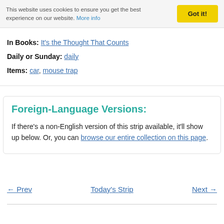This website uses cookies to ensure you get the best experience on our website. More info
In Books: It's the Thought That Counts
Daily or Sunday: daily
Items: car, mouse trap
Foreign-Language Versions:
If there's a non-English version of this strip available, it'll show up below. Or, you can browse our entire collection on this page.
← Prev   Today's Strip   Next →